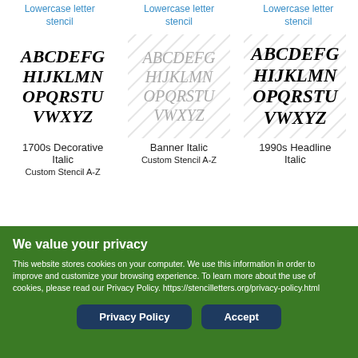Lowercase letter stencil
Lowercase letter stencil
Lowercase letter stencil
[Figure (illustration): 1700s Decorative Italic uppercase alphabet stencil: ABCDEFG HIJKLMN OPQRSTU VWXYZ in bold italic serif]
[Figure (illustration): Banner Italic uppercase alphabet stencil: ABCDEFG HIJKLMN OPQRSTU VWXYZ in light italic serif with diagonal lines background]
[Figure (illustration): 1990s Headline Italic uppercase alphabet stencil: ABCDEFG HIJKLMN OPQRSTU VWXYZ in bold italic serif with diagonal lines background]
1700s Decorative Italic
Banner Italic
1990s Headline Italic
Custom Stencil A-Z
Custom Stencil A-Z
We value your privacy
This website stores cookies on your computer. We use this information in order to improve and customize your browsing experience. To learn more about the use of cookies, please read our Privacy Policy. https://stencilletters.org/privacy-policy.html